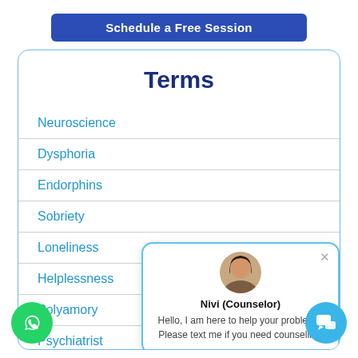Schedule a Free Session
Terms
Neuroscience
Dysphoria
Endorphins
Sobriety
Loneliness
Helplessness
Polyamory
Psychiatrist
[Figure (screenshot): Chat popup with counselor avatar. Name: Nivi (Counselor). Message: Hello, I am here to help your problems. Please text me if you need counseling.]
[Figure (logo): WhatsApp circular green button at bottom left]
[Figure (other): Blue circular chat button at bottom right]